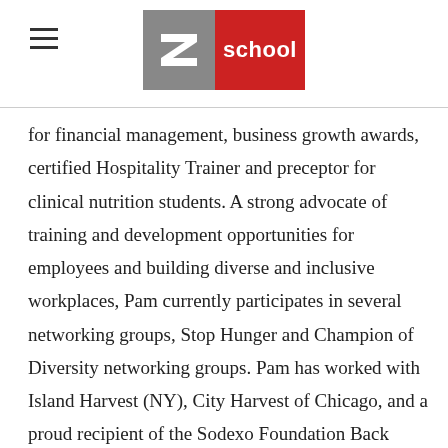n2 school logo with hamburger menu
for financial management, business growth awards, certified Hospitality Trainer and preceptor for clinical nutrition students. A strong advocate of training and development opportunities for employees and building diverse and inclusive workplaces, Pam currently participates in several networking groups, Stop Hunger and Champion of Diversity networking groups. Pam has worked with Island Harvest (NY), City Harvest of Chicago, and a proud recipient of the Sodexo Foundation Back Pack Program grant. Pam served as an Ambassador on a Nutrition and Wellness Delegation to South Africa with People To People International. Pam served on the Board of Directors as the Program & Events Committee Chair for the NYC